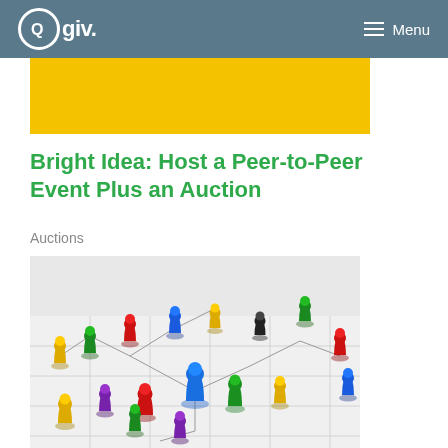Qgiv Menu
[Figure (other): Yellow banner/header image background]
Bright Idea: Host a Peer-to-Peer Event Plus an Auction
Auctions
[Figure (photo): Colorful board game pawns/pieces connected by lines on a white grid surface, representing peer-to-peer networking concept]